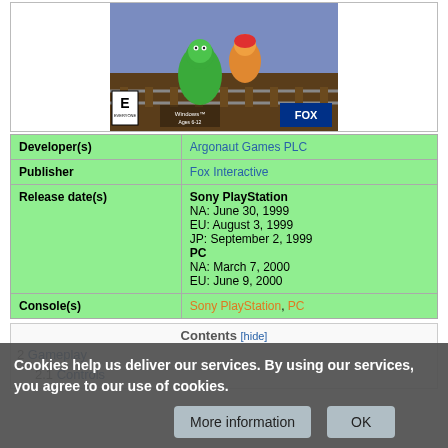[Figure (photo): Video game cover art showing animated characters including a green reptile character sliding on train tracks, with Windows Ages 6-12 and ESRB E rating label]
| Developer(s) | Argonaut Games PLC |
| Publisher | Fox Interactive |
| Release date(s) | Sony PlayStation
NA: June 30, 1999
EU: August 3, 1999
JP: September 2, 1999
PC
NA: March 7, 2000
EU: June 9, 2000 |
| Console(s) | Sony PlayStation, PC |
Contents [hide]
2 Gameplay
2.1 Controls
Cookies help us deliver our services. By using our services, you agree to our use of cookies.